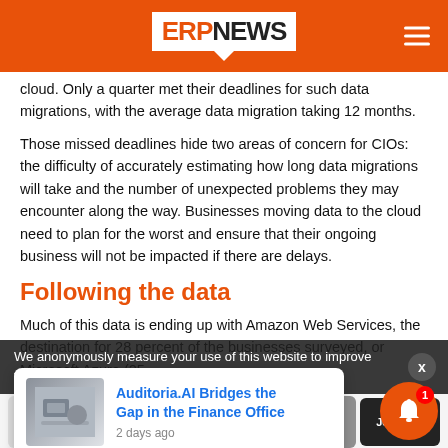ERP NEWS
cloud. Only a quarter met their deadlines for such data migrations, with the average data migration taking 12 months.
Those missed deadlines hide two areas of concern for CIOs: the difficulty of accurately estimating how long data migrations will take and the number of unexpected problems they may encounter along the way. Businesses moving data to the cloud need to plan for the worst and ensure that their ongoing business will not be impacted if there are delays.
Following the data
Much of this data is ending up with Amazon Web Services, the destination for 28 percent of the businesses surveyed, or Microsoft Azure (25 percent). SAP's cloud is picking up another 14 percent, IBM's 10 percent a...
We anonymously measure your use of this website to improve your best experience on businesses surveyed... businesses... applications...
Auditoria.AI Bridges the Gap in the Finance Office
2 days ago